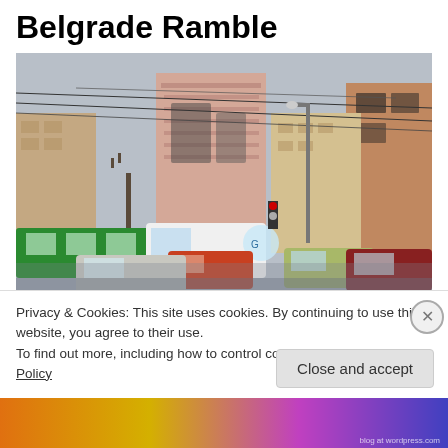Belgrade Ramble
[Figure (photo): Street scene in Belgrade showing bombed/damaged buildings in the background, overhead tram wires, city traffic including cars, a white van, and a green tram, taken on a grey overcast day.]
Privacy & Cookies: This site uses cookies. By continuing to use this website, you agree to their use.
To find out more, including how to control cookies, see here: Cookie Policy